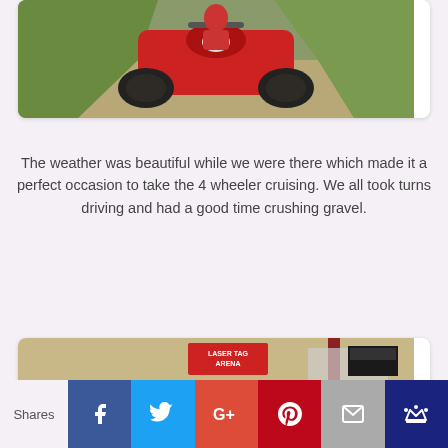[Figure (photo): Red ATV/four-wheeler on a gravel dirt road with grass in background]
The weather was beautiful while we were there which made it a perfect occasion to take the 4 wheeler cruising.  We all took turns driving and had a good time crushing gravel.
[Figure (photo): Group of people riding go-karts at a track with a Laser Tag Arena sign visible in the background]
Shares  [Facebook] [Twitter] [G+] [Pinterest] [Email] [Crown]